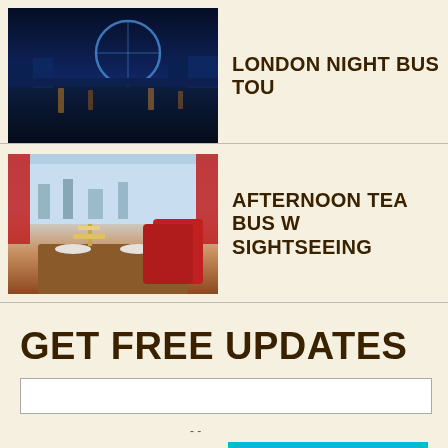[Figure (photo): Night photo of London Eye and River Thames with reflections]
LONDON NIGHT BUS TOU
[Figure (photo): Interior of a double-decker bus with afternoon tea setup and London skyline visible through windows]
AFTERNOON TEA BUS W SIGHTSEEING
GET FREE UPDATES
- -
from £35